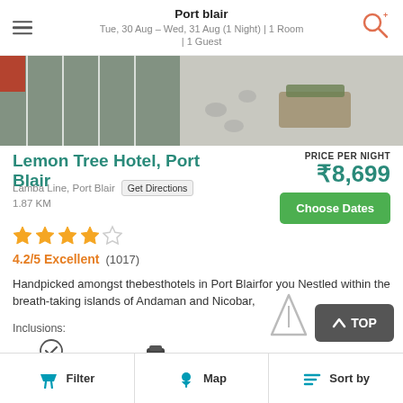Port blair
Tue, 30 Aug – Wed, 31 Aug (1 Night) | 1 Room | 1 Guest
[Figure (photo): Aerial/street view of a paved area with parking markings and a landscaped planter]
Lemon Tree Hotel, Port Blair
Lamba Line, Port Blair
1.87 KM
PRICE PER NIGHT
₹8,699
Choose Dates
4.2/5 Excellent  (1017)
Handpicked amongst thebesthotels in Port Blairfor you Nestled within the breath-taking islands of Andaman and Nicobar,
Inclusions:
Free Cancellation
Free Valet Parking
Filter   Map   Sort by